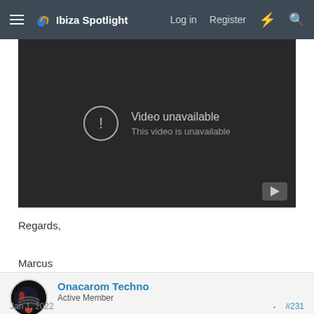Ibiza Spotlight — Log in  Register
[Figure (screenshot): Embedded YouTube video player showing 'Video unavailable / This video is unavailable' error message on a dark background.]
Regards,

Marcus
Onacarom Techno
Active Member
Jan 1, 2022  #231